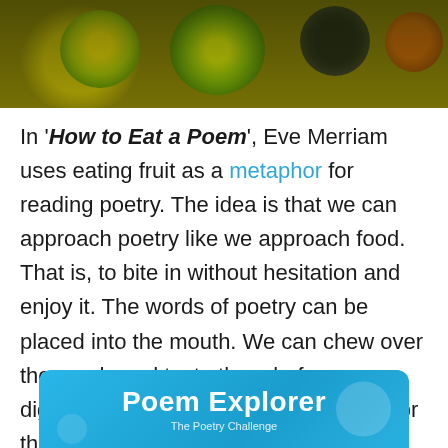[Figure (photo): Top banner photo of assorted colorful fruits including kiwi, grapes, and citrus on a dark background]
In 'How to Eat a Poem', Eve Merriam uses eating fruit as a metaphor for reading poetry. The idea is that we can approach poetry like we approach food. That is, to bite in without hesitation and enjoy it. The words of poetry can be placed into the mouth. We can chew over the words and taste them before digesting their meaning. Think of food for thought, nourishment for the mind.
[Figure (other): Blue banner with white bold text reading 'Poem Explorer' and decorative bubble shapes]